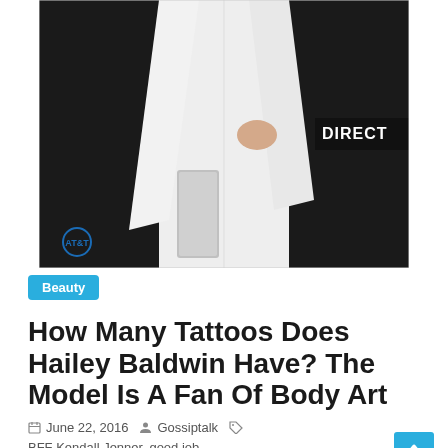[Figure (photo): Person wearing a white outfit with cape-style jacket at what appears to be an AT&T/DirecTV event, with dark background. They are holding a white clutch purse.]
Beauty
How Many Tattoos Does Hailey Baldwin Have? The Model Is A Fan Of Body Art
June 22, 2016   Gossiptalk   BFF Kendall Jenner, good job,